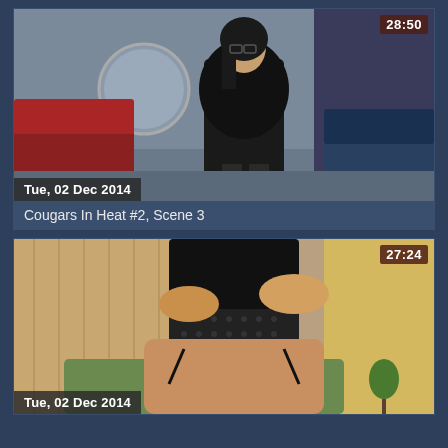[Figure (photo): Video thumbnail showing a woman in a black blazer and glasses standing in a room, timestamp 28:50 in top right, date overlay 'Tue, 02 Dec 2014' at bottom left]
Cougars In Heat #2, Scene 3
[Figure (photo): Video thumbnail showing a close-up scene, timestamp 27:24 in top right, date overlay 'Tue, 02 Dec 2014' at bottom left]